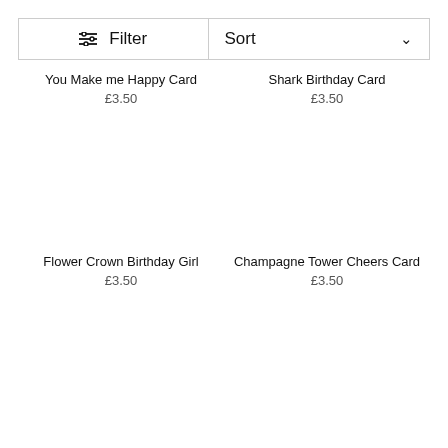Filter
Sort
You Make me Happy Card £3.50
Shark Birthday Card £3.50
Flower Crown Birthday Girl £3.50
Champagne Tower Cheers Card £3.50